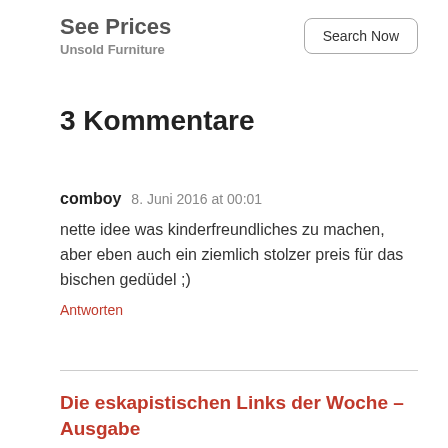See Prices
Unsold Furniture
Search Now
3 Kommentare
comboy   8. Juni 2016 at 00:01
nette idee was kinderfreundliches zu machen, aber eben auch ein ziemlich stolzer preis für das bischen gedüdel ;)
Antworten
Die eskapistischen Links der Woche – Ausgabe
22/2016 … vielleicht auch